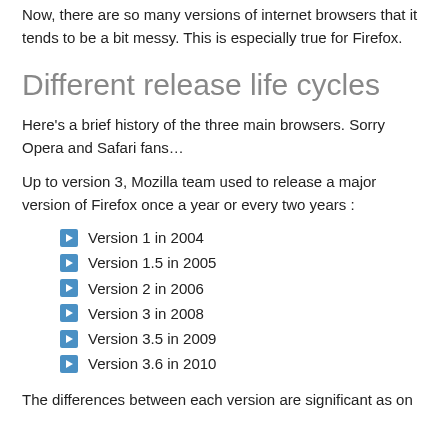Now, there are so many versions of internet browsers that it tends to be a bit messy. This is especially true for Firefox.
Different release life cycles
Here's a brief history of the three main browsers. Sorry Opera and Safari fans…
Up to version 3, Mozilla team used to release a major version of Firefox once a year or every two years :
Version 1 in 2004
Version 1.5 in 2005
Version 2 in 2006
Version 3 in 2008
Version 3.5 in 2009
Version 3.6 in 2010
The differences between each version are significant as on